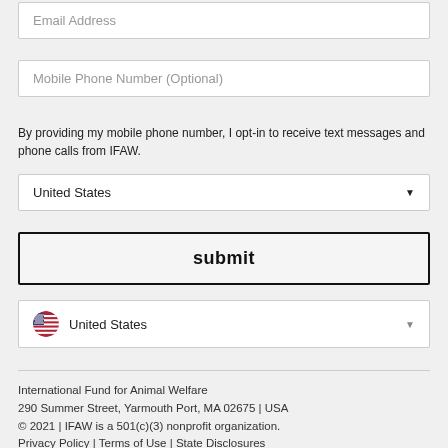Email Address
Mobile Phone Number (Optional)
By providing my mobile phone number, I opt-in to receive text messages and phone calls from IFAW.
United States
submit
United States
International Fund for Animal Welfare
290 Summer Street, Yarmouth Port, MA 02675 | USA
© 2021 | IFAW is a 501(c)(3) nonprofit organization.
Privacy Policy | Terms of Use | State Disclosures